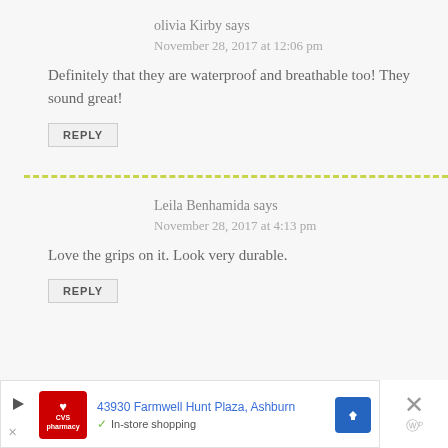olivia Kirby says
November 28, 2017 at 12:06 pm
Definitely that they are waterproof and breathable too! They sound great!
REPLY
Leila Benhamida says
November 28, 2017 at 4:13 pm
Love the grips on it. Look very durable.
REPLY
[Figure (other): Advertisement banner: CVS Pharmacy logo, address 43930 Farmwell Hunt Plaza, Ashburn, In-store shopping, navigation arrow icon, close (X) button]